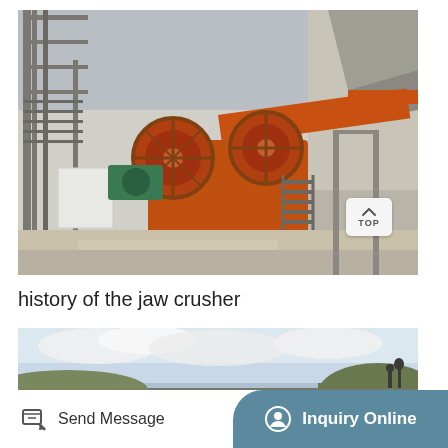[Figure (photo): Industrial jaw crusher equipment at a stone crushing plant, showing large orange crusher with flywheels, conveyor belt, metal framework, stairs, and crushed stone/aggregate on the ground. Industrial facility building visible on the right.]
history of the jaw crusher
[Figure (photo): Outdoor landscape with cloudy sky and hillside, partially visible bottom photo of a quarry or mining site.]
Send Message
Inquiry Online